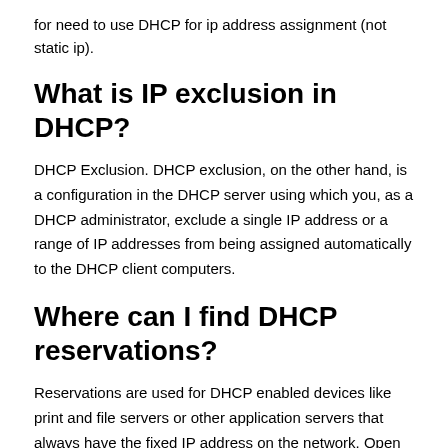for need to use DHCP for ip address assignment (not static ip).
What is IP exclusion in DHCP?
DHCP Exclusion. DHCP exclusion, on the other hand, is a configuration in the DHCP server using which you, as a DHCP administrator, exclude a single IP address or a range of IP addresses from being assigned automatically to the DHCP client computers.
Where can I find DHCP reservations?
Reservations are used for DHCP enabled devices like print and file servers or other application servers that always have the fixed IP address on the network. Open the DHCP console.